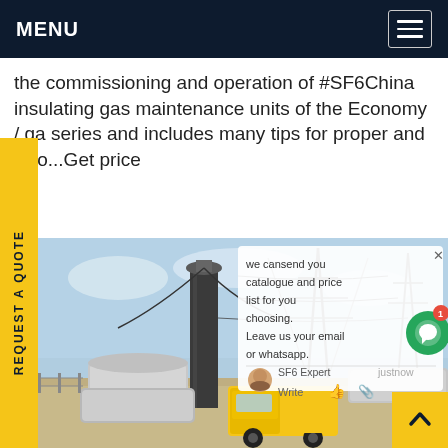MENU
the commissioning and operation of #SF6China insulating gas maintenance units of the Economy / ga series and includes many tips for proper and ssio...Get price
REQUEST A QUOTE
[Figure (photo): Electrical substation with high-voltage equipment, transmission towers, and a yellow service truck performing maintenance operations.]
we cansend you catalogue and price list for you choosing. Leave us your email or whatsapp.
SF6 Expert  justnow
Write